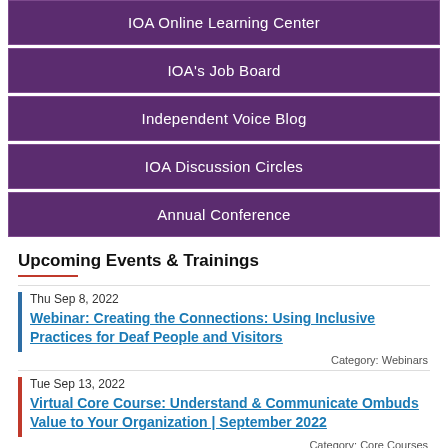IOA Online Learning Center
IOA's Job Board
Independent Voice Blog
IOA Discussion Circles
Annual Conference
Upcoming Events & Trainings
Thu Sep 8, 2022
Webinar: Creating the Connections: Using Inclusive Practices for Deaf People and Visitors
Category: Webinars
Tue Sep 13, 2022
Virtual Core Course: Understand & Communicate Ombuds Value to Your Organization | September 2022
Category: Core Courses
Wed Sep 14, 2022